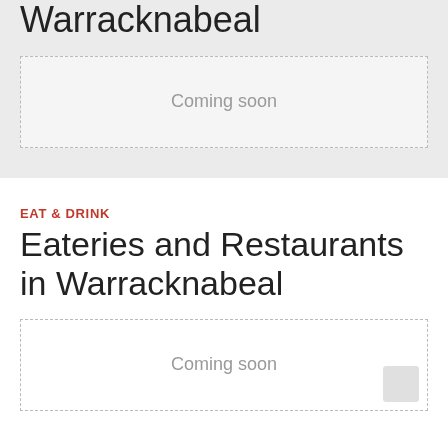Warracknabeal
Coming soon
EAT & DRINK
Eateries and Restaurants in Warracknabeal
Coming soon